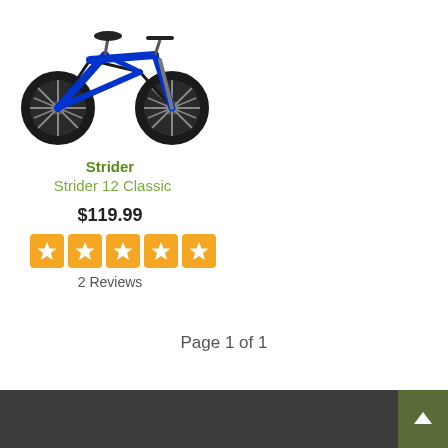[Figure (photo): Blue Strider 12 Classic balance bike with black wheels and black seat, photographed from the side on white background]
Strider
Strider 12 Classic
$119.99
[Figure (other): Five orange star rating boxes indicating 5-star rating]
2 Reviews
Page 1 of 1